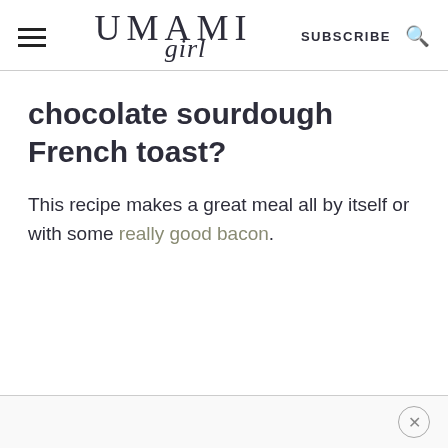UMAMI girl | SUBSCRIBE
chocolate sourdough French toast?
This recipe makes a great meal all by itself or with some really good bacon.